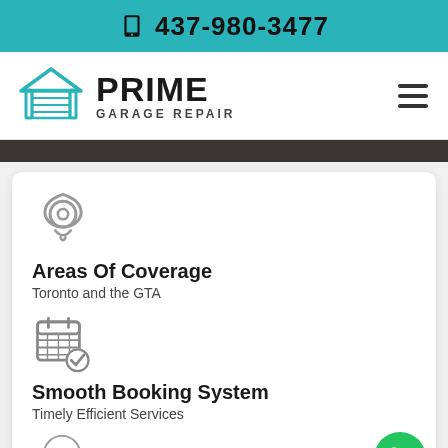📞 437-980-3477
[Figure (logo): Prime Garage Repair logo with garage icon and hamburger menu]
[Figure (infographic): Location pin icon, Areas Of Coverage section, calendar/booking icon, Smooth Booking System section, 24-hour icon]
Areas Of Coverage
Toronto and the GTA
Smooth Booking System
Timely Efficient Services